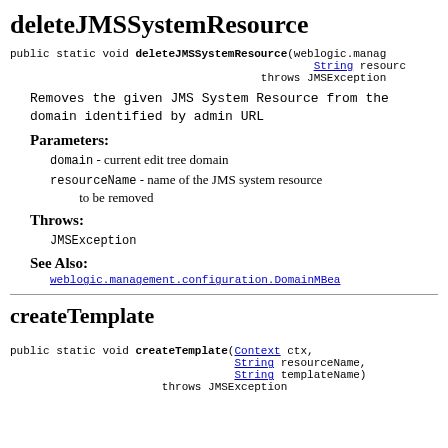deleteJMSSystemResource
public static void deleteJMSSystemResource(weblogic.manag
                                              String resourc
                                   throws JMSException
Removes the given JMS System Resource from the domain identified by admin URL
Parameters:
domain - current edit tree domain
resourceName - name of the JMS system resource to be removed
Throws:
JMSException
See Also:
weblogic.management.configuration.DomainMBea
createTemplate
public static void createTemplate(Context ctx,
                                  String resourceName,
                                  String templateName)
                       throws JMSException